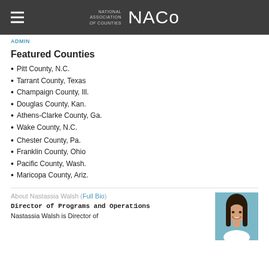NACo - National Association of Counties
ADMIN
Featured Counties
Pitt County, N.C.
Tarrant County, Texas
Champaign County, Ill.
Douglas County, Kan.
Athens-Clarke County, Ga.
Wake County, N.C.
Chester County, Pa.
Franklin County, Ohio
Pacific County, Wash.
Maricopa County, Ariz.
About Nastassia Walsh (Full Bio)
Director of Programs and Operations
Nastassia Walsh is Director of
[Figure (photo): Headshot photo of Nastassia Walsh, a woman with long dark hair, smiling, against a teal/blue background]